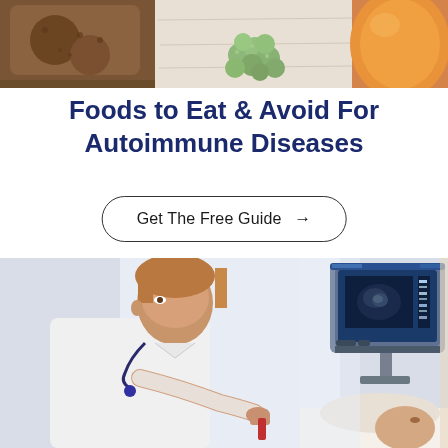[Figure (photo): Top portion of a food photo showing bread, grapes, and other foods on a wooden surface — cropped at top]
Foods to Eat & Avoid For Autoimmune Diseases
Get The Free Guide →
[Figure (photo): A female doctor in a white coat with stethoscope performing an ultrasound examination on a patient, with an ultrasound monitor displaying an image in the background]